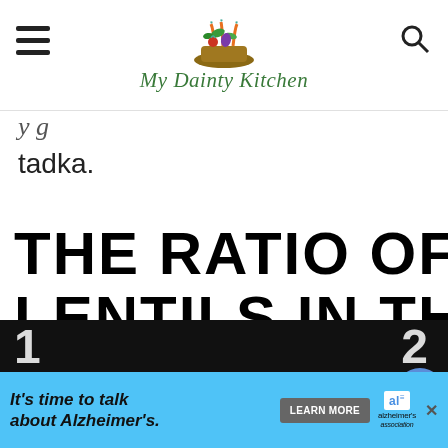My Dainty Kitchen
tadka.
THE RATIO OF LENTILS IN THE DAL TADKA (MIXED LENTILS) SHOULD BE:
[Figure (screenshot): Advertisement banner: It's time to talk about Alzheimer's. LEARN MORE button and Alzheimer's Association logo.]